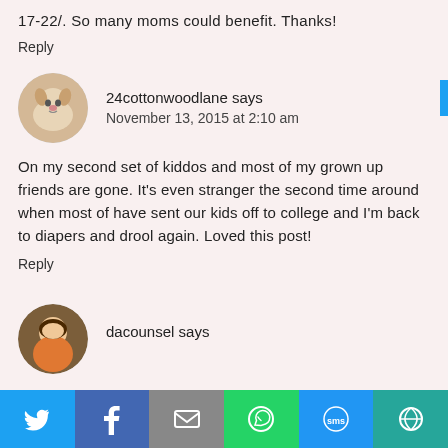17-22/. So many moms could benefit. Thanks!
Reply
[Figure (photo): Circular avatar of a small white/light-colored dog]
24cottonwoodlane says
November 13, 2015 at 2:10 am
On my second set of kiddos and most of my grown up friends are gone. It's even stranger the second time around when most of have sent our kids off to college and I'm back to diapers and drool again. Loved this post!
Reply
[Figure (photo): Circular avatar of a person]
dacounsel says
[Figure (infographic): Social share bar with Twitter, Facebook, Email, WhatsApp, SMS, and More buttons]